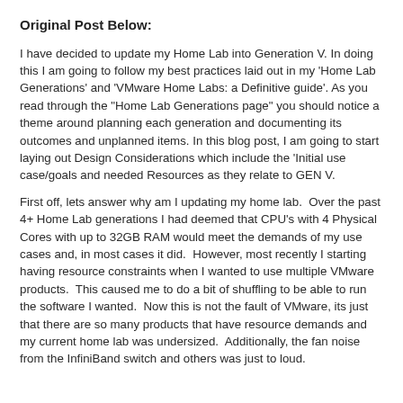Original Post Below:
I have decided to update my Home Lab into Generation V. In doing this I am going to follow my best practices laid out in my 'Home Lab Generations' and 'VMware Home Labs: a Definitive guide'. As you read through the "Home Lab Generations page" you should notice a theme around planning each generation and documenting its outcomes and unplanned items. In this blog post, I am going to start laying out Design Considerations which include the 'Initial use case/goals and needed Resources as they relate to GEN V.
First off, lets answer why am I updating my home lab.  Over the past 4+ Home Lab generations I had deemed that CPU's with 4 Physical Cores with up to 32GB RAM would meet the demands of my use cases and, in most cases it did.  However, most recently I starting having resource constraints when I wanted to use multiple VMware products.  This caused me to do a bit of shuffling to be able to run the software I wanted.  Now this is not the fault of VMware, its just that there are so many products that have resource demands and my current home lab was undersized.  Additionally, the fan noise from the InfiniBand switch and others was just to loud.